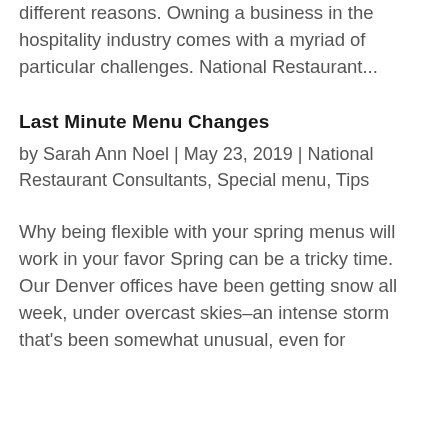overwhelming, for a number of different reasons. Owning a business in the hospitality industry comes with a myriad of particular challenges. National Restaurant...
Last Minute Menu Changes
by Sarah Ann Noel | May 23, 2019 | National Restaurant Consultants, Special menu, Tips
Why being flexible with your spring menus will work in your favor Spring can be a tricky time. Our Denver offices have been getting snow all week, under overcast skies–an intense storm that's been somewhat unusual, even for